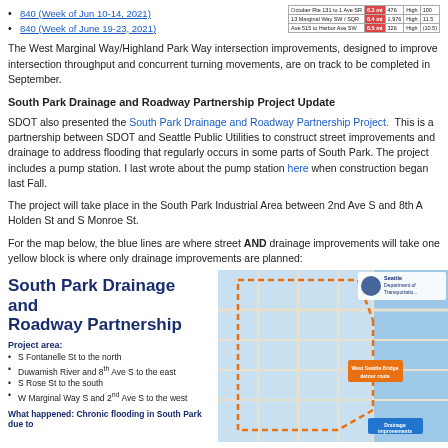840 (Week of Jun 10-14, 2021)
840 (Week of June 19-23, 2021)
[Figure (table-as-image): Small data table with traffic/transportation metrics in top right corner]
The West Marginal Way/Highland Park Way intersection improvements, designed to improve intersection throughput and concurrent turning movements, are on track to be completed in September.
South Park Drainage and Roadway Partnership Project Update
SDOT also presented the South Park Drainage and Roadway Partnership Project. This is a partnership between SDOT and Seattle Public Utilities to construct street improvements and drainage to address flooding that regularly occurs in some parts of South Park. The project includes a pump station. I last wrote about the pump station here when construction began last Fall.
The project will take place in the South Park Industrial Area between 2nd Ave S and 8th Ave S and Holden St and S Monroe St.
For the map below, the blue lines are where street AND drainage improvements will take place and one yellow block is where only drainage improvements are planned:
[Figure (infographic): South Park Drainage and Roadway Partnership infographic with project title, project area bullet points (S Fontanelle St to the north, Duwamish River and 8th Ave S to the east, S Rose St to the south, W Marginal Way S and 2nd Ave S to the west), and What happened: Chronic flooding in South Park due to...]
[Figure (map): Map of South Park area showing drainage and roadway improvement zones with orange dashed lines, West Seattle Bridge detour route label, Seattle Department of Transportation logo, and Drainage improvements label]